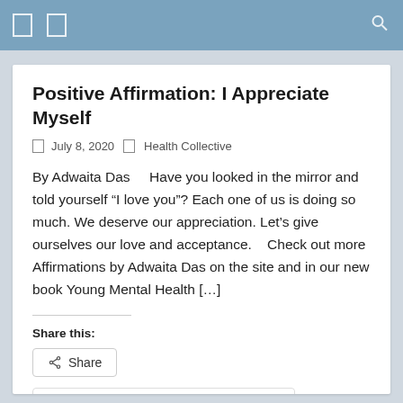Positive Affirmation: I Appreciate Myself
July 8, 2020   Health Collective
By Adwaita Das     Have you looked in the mirror and told yourself “I love you”? Each one of us is doing so much. We deserve our appreciation. Let’s give ourselves our love and acceptance.   Check out more Affirmations by Adwaita Das on the site and in our new book Young Mental Health […]
Share this:
Share
Continue Reading